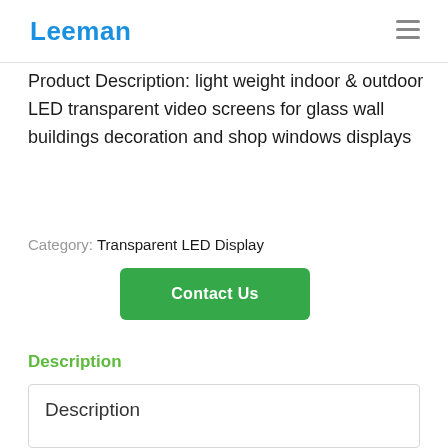Leeman
Product Description: light weight indoor & outdoor LED transparent video screens for glass wall buildings decoration and shop windows displays
Category: Transparent LED Display
Contact Us
Description
Description